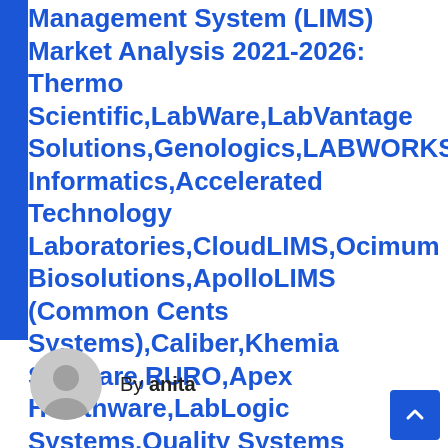Management System (LIMS) Market Analysis 2021-2026: Thermo Scientific,LabWare,LabVantage Solutions,Genologics,LABWORKS,Abbott Informatics,Accelerated Technology Laboratories,CloudLIMS,Ocimum Biosolutions,ApolloLIMS (Common Cents Systems),Caliber,Khemia Software,RURO,Apex Healthware,LabLogic Systems,Quality Systems International,LabLynx,Blaze Systems,Freezerworks »
By anita
[Figure (illustration): Generic user avatar circle icon in grey, showing a head and shoulders silhouette]